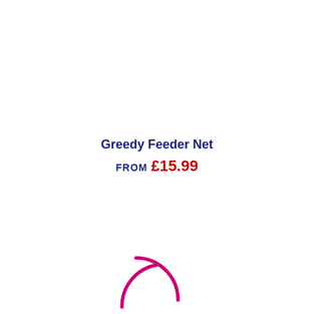Greedy Feeder Net
FROM £15.99
[Figure (illustration): Partial pink/magenta circular arc or spinner icon visible at the bottom center of the page, cropped at the page edge]